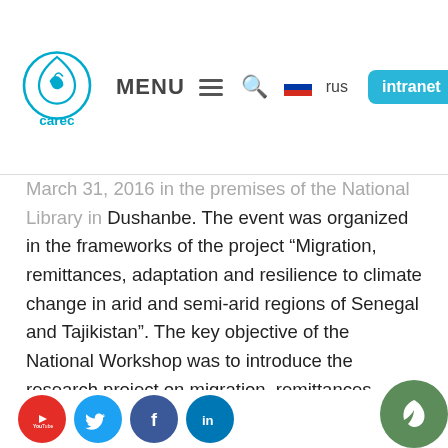CAREC | MENU | rus | intranet
March 31, 2016 in the premises of the National Library in Dushanbe. The event was organized in the frameworks of the project "Migration, remittances, adaptation and resilience to climate change in arid and semi-arid regions of Senegal and Tajikistan". The key objective of the National Workshop was to introduce the research project on migration, remittances, adaptation and resilience in arid and semi-arid regions of Senegal and Tajikistan to a broader range of the national and international stakeholders in Tajikistan, and ensure a tandem of science and policy making.
The workshop was opened by Mr. Nuriddin Nuraliev on behalf of the Executive Office of the President of the